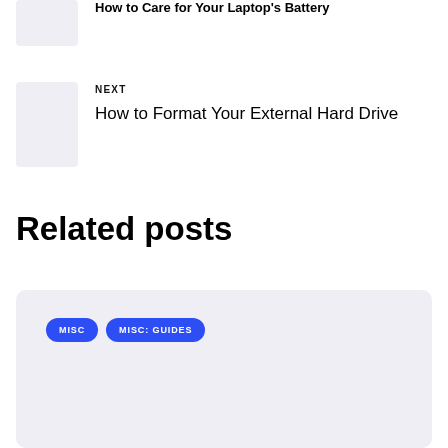[Figure (other): Thumbnail image placeholder for previous article about laptop battery]
How to Care for Your Laptop's Battery
[Figure (other): Thumbnail image placeholder for next article about formatting external hard drive]
NEXT
How to Format Your External Hard Drive
Related posts
[Figure (other): Related post card with tags MISC and MISC: GUIDES]
MISC
MISC: GUIDES